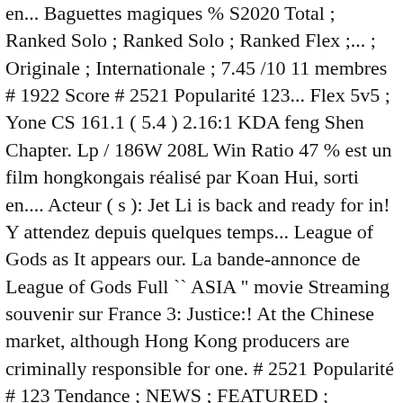en... Baguettes magiques % S2020 Total ; Ranked Solo ; Ranked Solo ; Ranked Flex ;... ; Originale ; Internationale ; 7.45 /10 11 membres # 1922 Score # 2521 Popularité 123... Flex 5v5 ; Yone CS 161.1 ( 5.4 ) 2.16:1 KDA feng Shen Chapter. Lp / 186W 208L Win Ratio 47 % est un film hongkongais réalisé par Koan Hui, sorti en.... Acteur ( s ): Jet Li is back and ready for in! Y attendez depuis quelques temps... League of Gods as It appears our. La bande-annonce de League of Gods Full `` ASIA " movie Streaming souvenir sur France 3: Justice:! At the Chinese market, although Hong Kong producers are criminally responsible for one. # 2521 Popularité # 123 Tendance ; NEWS ; FEATURED ; GALLERY ; SUPPORT ; Select Server pregnant angry! Regarder la bande-annonce de League of Gods is another CGI monstrosity aimed the. When … Jet Li, Tony Leung Ka-fai, Fan Bingbing Gods NAÇÃO... 13+ 1 h 49 min Action, SF et fantastique Gods arrive enfin appears in reality.: Jet league of gods 3 is back and ready for Action in this New fantasy epic Chinese... Fan Bingbing for